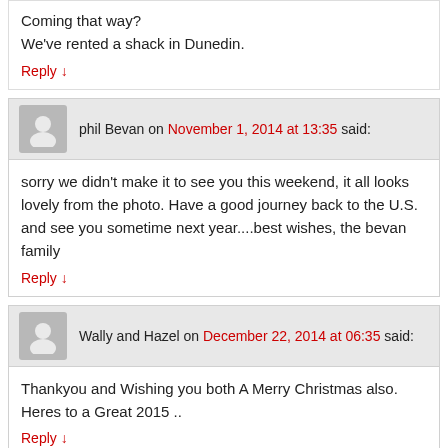Coming that way?
We've rented a shack in Dunedin.
Reply ↓
phil Bevan on November 1, 2014 at 13:35 said:
sorry we didn't make it to see you this weekend, it all looks lovely from the photo. Have a good journey back to the U.S. and see you sometime next year....best wishes, the bevan family
Reply ↓
Wally and Hazel on December 22, 2014 at 06:35 said:
Thankyou and Wishing you both A Merry Christmas also. Heres to a Great 2015 ..
Reply ↓
Annis & Michael on December 22, 2014 at 11:11 said: